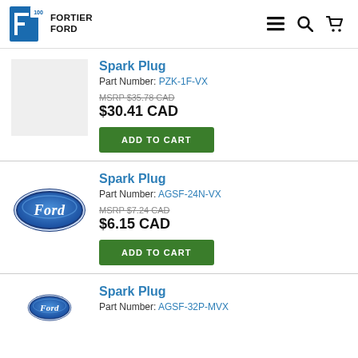Fortier Ford — navigation header with logo, menu, search, and cart icons
Spark Plug
Part Number: PZK-1F-VX
MSRP $35.78 CAD
$30.41 CAD
Spark Plug
Part Number: AGSF-24N-VX
MSRP $7.24 CAD
$6.15 CAD
Spark Plug
Part Number: AGSF-32P-MVX